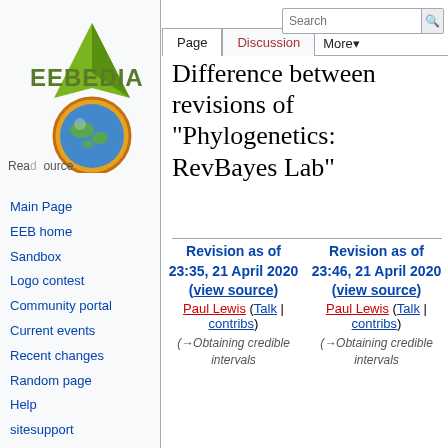Log in
[Figure (logo): EEBedia wiki logo with green leaf graphic and globe illustration]
Main Page
EEB home
Sandbox
Logo contest
Community portal
Current events
Recent changes
Random page
Help
sitesupport
Tools
What links here
Related changes
Difference between revisions of "Phylogenetics: RevBayes Lab"
Revision as of 23:35, 21 April 2020 (view source)
Paul Lewis (Talk | contribs)
(→Obtaining credible intervals
Revision as of 23:46, 21 April 2020 (view source)
Paul Lewis (Talk | contribs)
(→Obtaining credible intervals